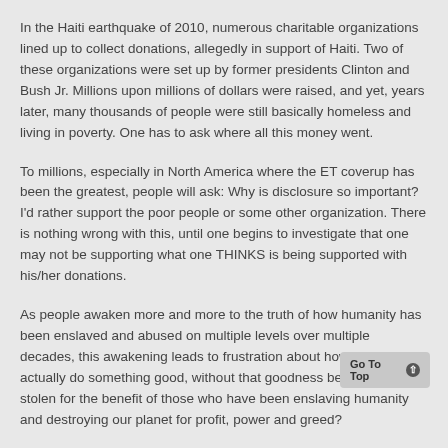In the Haiti earthquake of 2010, numerous charitable organizations lined up to collect donations, allegedly in support of Haiti. Two of these organizations were set up by former presidents Clinton and Bush Jr. Millions upon millions of dollars were raised, and yet, years later, many thousands of people were still basically homeless and living in poverty. One has to ask where all this money went.
To millions, especially in North America where the ET coverup has been the greatest, people will ask: Why is disclosure so important? I'd rather support the poor people or some other organization. There is nothing wrong with this, until one begins to investigate that one may not be supporting what one THINKS is being supported with his/her donations.
As people awaken more and more to the truth of how humanity has been enslaved and abused on multiple levels over multiple decades, this awakening leads to frustration about how one can actually do something good, without that goodness being abused or stolen for the benefit of those who have been enslaving humanity and destroying our planet for profit, power and greed?